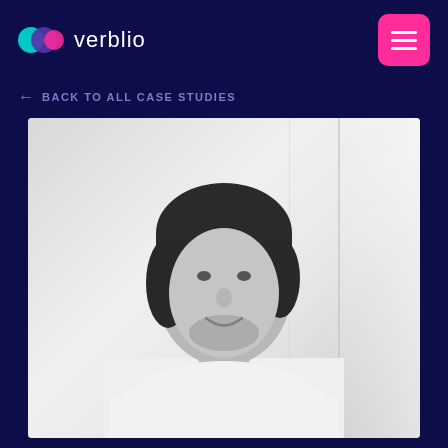verblio
← BACK TO ALL CASE STUDIES
[Figure (photo): Black and white portrait photo of a young man with dark hair, wearing a white shirt, smiling slightly, with a blurred indoor background with window light]